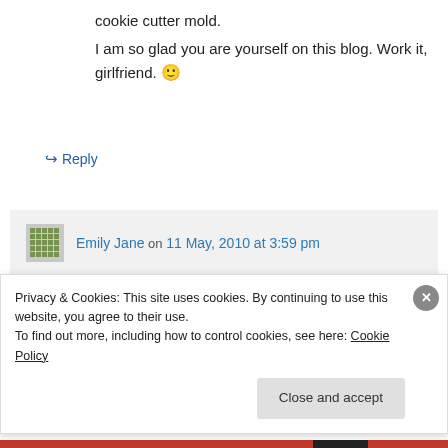cookie cutter mold.
I am so glad you are yourself on this blog. Work it, girlfriend. 🙂
↪ Reply
Emily Jane on 11 May, 2010 at 3:59 pm
Thanks Ally ❤
↪ Reply
Privacy & Cookies: This site uses cookies. By continuing to use this website, you agree to their use.
To find out more, including how to control cookies, see here: Cookie Policy
Close and accept